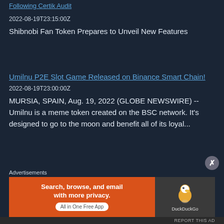Following Certik Audit
2022-08-19T23:15:00Z
Shibnobi Fan Token Prepares to Unveil New Features
Umilnu P2E Slot Game Released on Binance Smart Chain!
2022-08-19T23:00:00Z
MURSIA, SPAIN, Aug. 19, 2022 (GLOBE NEWSWIRE) --  Umilnu is a meme token created on the BSC network. It's designed to go to the moon and benefit all of its loyal...
Advertisements
[Figure (screenshot): DuckDuckGo advertisement banner: orange left panel with text 'Search, browse, and email with more privacy. All in One Free App', dark right panel with DuckDuckGo duck logo]